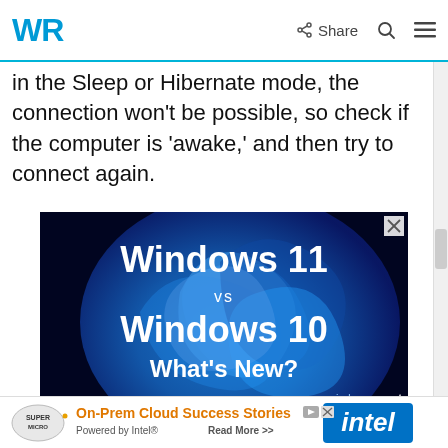WR — Share
in the Sleep or Hibernate mode, the connection won't be possible, so check if the computer is 'awake,' and then try to connect again.
[Figure (screenshot): Advertisement image showing 'Windows 11 vs Windows 10 What's New?' with Windows 11 bloom wallpaper background, white bold text, and windowsreport logo at bottom right. Blue swirl abstract background.]
[Figure (screenshot): Bottom banner advertisement: Supermicro logo with text 'On-Prem Cloud Success Stories Powered by Intel® Read More >>' and Intel logo on the right.]